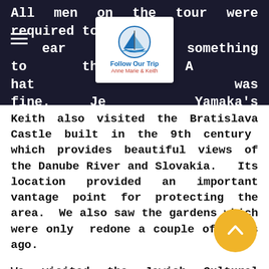All men on the tour were required to wear something to cover their head. A hat was fine. Jewish Yamaka's were available for anyone not having a hat.
[Figure (logo): Follow Our Trip logo with sailboat icon and text 'Follow Our Trip Anne Marie & Keith']
Keith also visited the Bratislava Castle built in the 9th century which provides beautiful views of the Danube River and Slovakia. Its location provided an important vantage point for protecting the area. We also saw the gardens which were only redone a couple of years ago.
We visited the Jewish Cultural M... The size of the museum is not larg...ut it is very impactful with the items on display. It tells many stories about Jewish life, customs and rituals. It